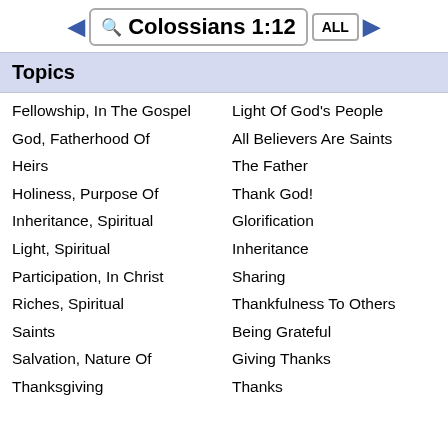Colossians 1:12
Topics
Fellowship, In The Gospel
God, Fatherhood Of
Heirs
Holiness, Purpose Of
Inheritance, Spiritual
Light, Spiritual
Participation, In Christ
Riches, Spiritual
Saints
Salvation, Nature Of
Thanksgiving
Light Of God's People
All Believers Are Saints
The Father
Thank God!
Glorification
Inheritance
Sharing
Thankfulness To Others
Being Grateful
Giving Thanks
Thanks